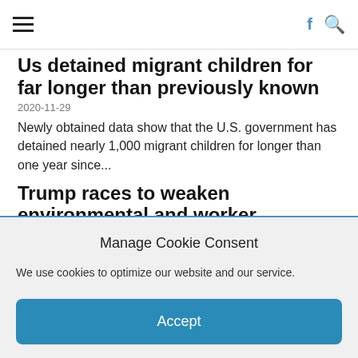Navigation bar with hamburger menu, Facebook icon, and search icon
Us detained migrant children for far longer than previously known
2020-11-29
Newly obtained data show that the U.S. government has detained nearly 1,000 migrant children for longer than one year since...
Trump races to weaken environmental and worker protections, and implement other last-minute policies, before Jan. 20
2020-11-27
The Trump administration is rushing to approve dozens of eleventh-hour policy changes. Among them: The Justice Department is fast-tracking a...
Manage Cookie Consent
We use cookies to optimize our website and our service.
Accept